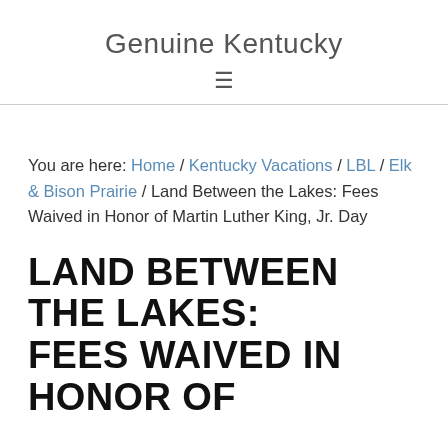Genuine Kentucky
You are here: Home / Kentucky Vacations / LBL / Elk & Bison Prairie / Land Between the Lakes: Fees Waived in Honor of Martin Luther King, Jr. Day
LAND BETWEEN THE LAKES: FEES WAIVED IN HONOR OF